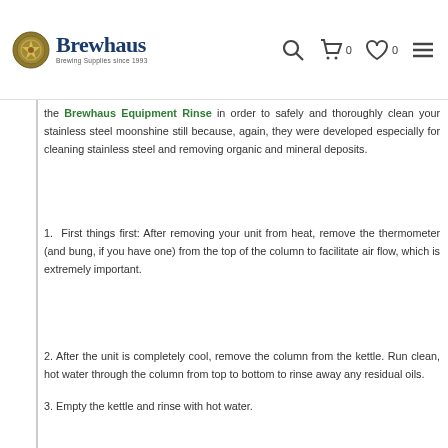Brewhaus - Brewing Supplies since 1993
the Brewhaus Equipment Rinse in order to safely and thoroughly clean your stainless steel moonshine still because, again, they were developed especially for cleaning stainless steel and removing organic and mineral deposits.
1.  First things first: After removing your unit from heat, remove the thermometer (and bung, if you have one) from the top of the column to facilitate air flow, which is extremely important.
2. After the unit is completely cool, remove the column from the kettle. Run clean, hot water through the column from top to bottom to rinse away any residual oils.
3. Empty the kettle and rinse with hot water.
4. Next, add Brewhaus Equipment Cleaner to hot water (150-180'F) to clean the equipment. You'll want to use 1/2 - 1 oz Equipment Cleaner per gallon of water. Remember to never use abrasive or corrosive materials on your unit and always clean with a gentle hand.